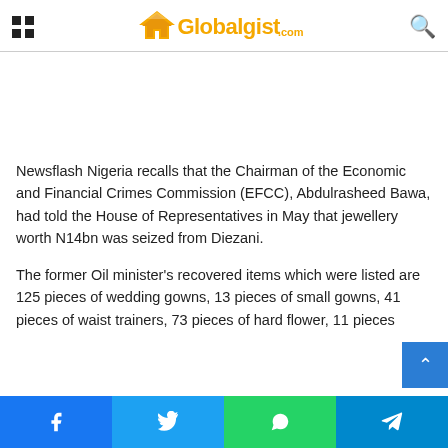Globalgist.com
[Figure (other): Advertisement placeholder / blank white space]
Newsflash Nigeria recalls that the Chairman of the Economic and Financial Crimes Commission (EFCC), Abdulrasheed Bawa, had told the House of Representatives in May that jewellery worth N14bn was seized from Diezani.
The former Oil minister's recovered items which were listed are 125 pieces of wedding gowns, 13 pieces of small gowns, 41 pieces of waist trainers, 73 pieces of hard flower, 11 pieces…
Facebook | Twitter | WhatsApp | Telegram